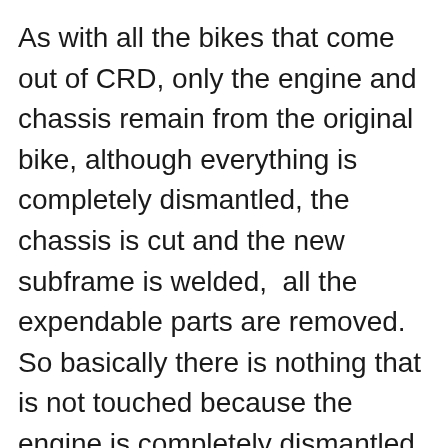As with all the bikes that come out of CRD, only the engine and chassis remain from the original bike, although everything is completely dismantled, the chassis is cut and the new subframe is welded,  all the expendable parts are removed. So basically there is nothing that is not touched because the engine is completely dismantled as well. Boxer engines are by design very strong, but you have to pay attention to the condition of the rings generally and sometimes the pistons, also check the valves, their guides, and clutches. All seals and seals are replaced. Somehow you restore the bike first and then